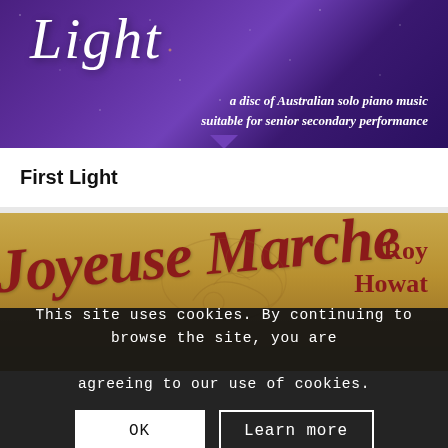[Figure (photo): Album cover for 'First Light' - a disc of Australian solo piano music suitable for senior secondary performance. Purple/violet background with stars and italic white text.]
First Light
[Figure (photo): Album cover for 'Joyeuse Marche' by Roy Howat and Wendy Hiscocks. Golden/yellow background with dark red italic title text and sketch illustration.]
This site uses cookies. By continuing to browse the site, you are agreeing to our use of cookies.